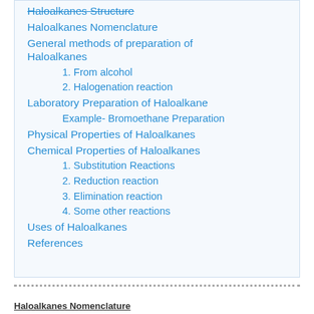Haloalkanes Structure
Haloalkanes Nomenclature
General methods of preparation of Haloalkanes
1. From alcohol
2. Halogenation reaction
Laboratory Preparation of Haloalkane
Example- Bromoethane Preparation
Physical Properties of Haloalkanes
Chemical Properties of Haloalkanes
1. Substitution Reactions
2. Reduction reaction
3. Elimination reaction
4. Some other reactions
Uses of Haloalkanes
References
Haloalkanes Nomenclature